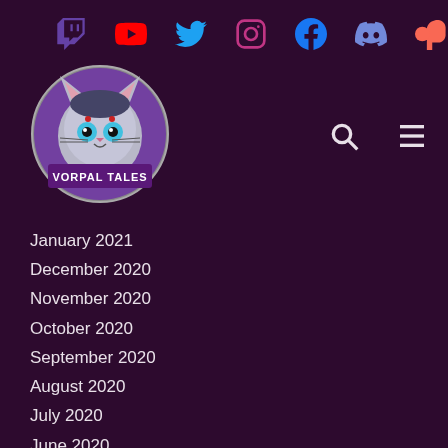[Figure (other): Social media icons row: Twitch, YouTube, Twitter, Instagram, Facebook, Discord, Patreon]
[Figure (logo): Vorpal Tales circular logo with a fantasy cat character on purple background]
January 2021
December 2020
November 2020
October 2020
September 2020
August 2020
July 2020
June 2020
May 2020
SUPPORT US
Support Vorpal Tales on Patreon!